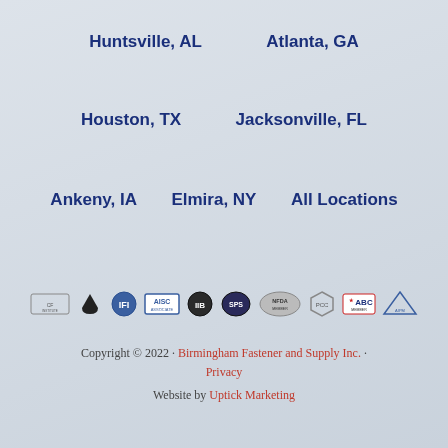Huntsville, AL    Atlanta, GA
Houston, TX    Jacksonville, FL
Ankeny, IA    Elmira, NY    All Locations
[Figure (logo): Row of 10 association/certification logos including AISC, ABC and others]
Copyright © 2022 · Birmingham Fastener and Supply Inc. · Privacy
Website by Uptick Marketing